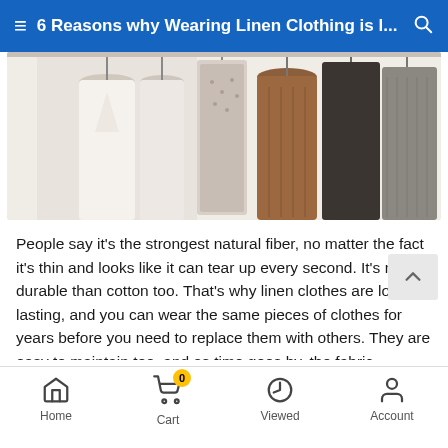6 Reasons why Wearing Linen Clothing is l...
[Figure (photo): Clothing hanging on a rack — white, patterned, and brown/dark garments on hangers against a light background]
People say it's the strongest natural fiber, no matter the fact it's thin and looks like it can tear up every second. It's more durable than cotton too. That's why linen clothes are long-lasting, and you can wear the same pieces of clothes for years before you need to replace them with others. They are easy to maintain too, and as time goes by, the fabric becomes softer and more comfortable to wear. If you wash it properly, it will last a few seasons, which means you won't need to spend a lot of money every
Home  Cart  Viewed  Account